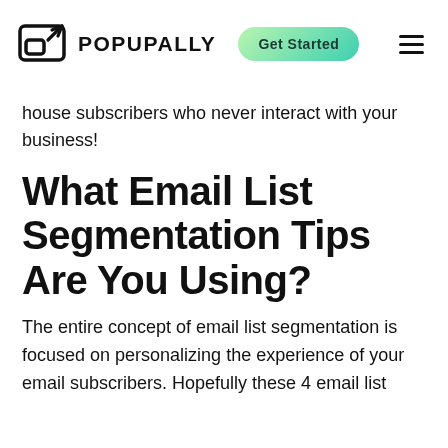POPUPALLY  Get Started
house subscribers who never interact with your business!
What Email List Segmentation Tips Are You Using?
The entire concept of email list segmentation is focused on personalizing the experience of your email subscribers. Hopefully these 4 email list